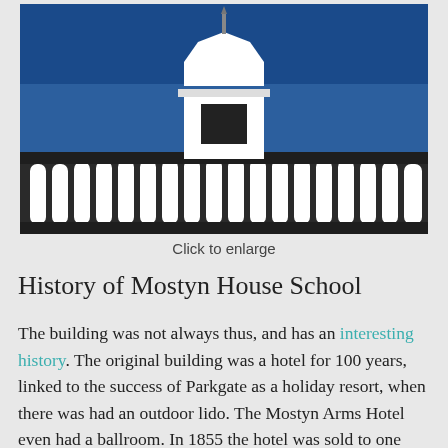[Figure (photo): Photograph of the top of a building with a white octagonal cupola/tower against a blue sky, with a white balustrade railing along the roofline.]
Click to enlarge
History of Mostyn House School
The building was not always thus, and has an interesting history. The original building was a hotel for 100 years, linked to the success of Parkgate as a holiday resort, when there was had an outdoor lido. The Mostyn Arms Hotel even had a ballroom. In 1855 the hotel was sold to one Edward Price of T...